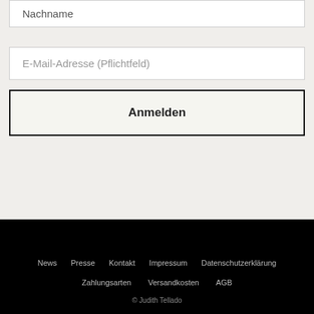Nachname
E-Mail-Adresse (Pflichtfeld)
Anmelden
News
Presse
Kontakt
Impressum
Datenschutzerklärung
Zahlungsarten
Versandkosten
AGB
© Judith Tellado